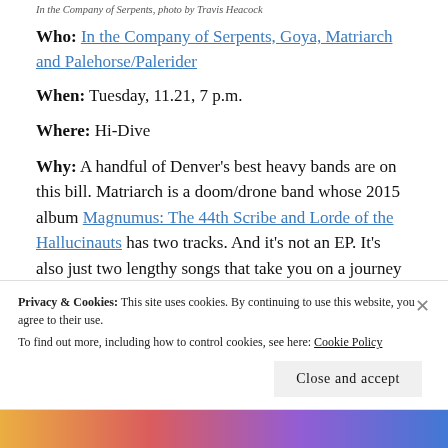In the Company of Serpents, photo by Travis Heacock
Who: In the Company of Serpents, Goya, Matriarch and Palehorse/Palerider
When: Tuesday, 11.21, 7 p.m.
Where: Hi-Dive
Why: A handful of Denver's best heavy bands are on this bill. Matriarch is a doom/drone band whose 2015 album Magnumus: The 44th Scribe and Lorde of the Hallucinauts has two tracks. And it's not an EP. It's also just two lengthy songs that take you on a journey of crushing epics like the soundtrack to Vikings exploring
Privacy & Cookies: This site uses cookies. By continuing to use this website, you agree to their use. To find out more, including how to control cookies, see here: Cookie Policy
Close and accept